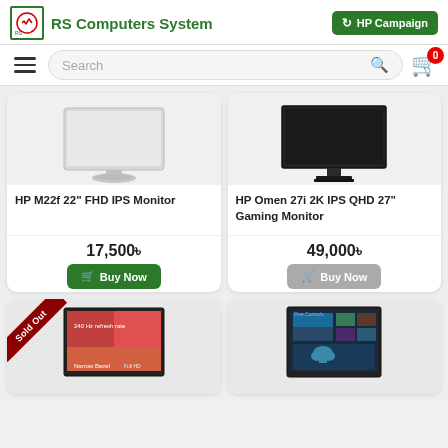RS Computers System | HP Campaign
Search
[Figure (screenshot): HP M22f 22 inch FHD IPS Monitor product image - silver slim monitor on stand]
HP M22f 22" FHD IPS Monitor
17,500৳
Buy Now
[Figure (screenshot): HP Omen 27i 2K IPS QHD 27 inch Gaming Monitor product image - black monitor on dark stand]
HP Omen 27i 2K IPS QHD 27" Gaming Monitor
49,000৳
Buy Now
[Figure (screenshot): Product card with Sold Out ribbon - gaming monitor with colorful display]
[Figure (screenshot): Product card - monitor with smart interface/touch display]